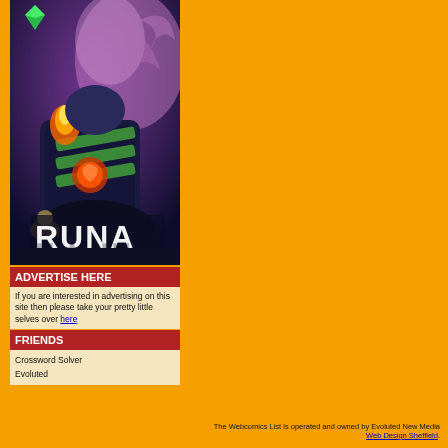[Figure (illustration): Comic book style illustration showing fantasy/action characters with the title 'RUNA' in white stylized text at the bottom. Dark blue/purple background with colorful characters including a character with a glowing weapon.]
ADVERTISE HERE
If you are interested in advertising on this site then please take your pretty little selves over here
FRIENDS
Crossword Solver
Evoluted
The Webcomics List is operated and owned by Evoluted New Media Web Design Sheffield.